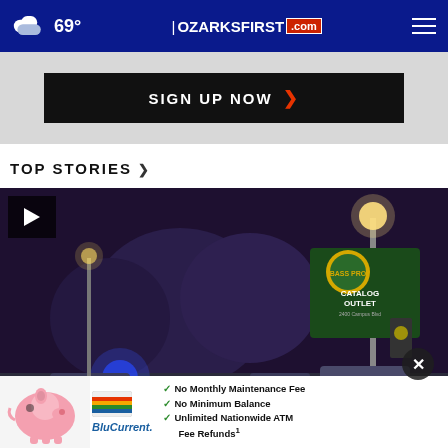69° OZARKSFIRST.com
SIGN UP NOW ›
TOP STORIES ›
[Figure (photo): Night scene at a Bass Pro Shops Catalog Outlet with police cars, blue lights, and street lamps visible. A crime scene or incident appears to be underway.]
[Figure (photo): BluCurrent advertisement banner with piggy bank image. Text: No Monthly Maintenance Fee, No Minimum Balance, Unlimited Nationwide ATM Fee Refunds.]